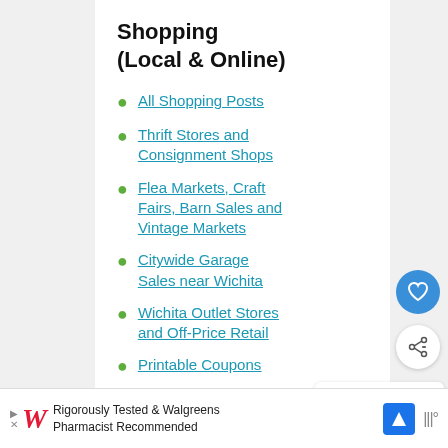Shopping (Local & Online)
All Shopping Posts
Thrift Stores and Consignment Shops
Flea Markets, Craft Fairs, Barn Sales and Vintage Markets
Citywide Garage Sales near Wichita
Wichita Outlet Stores and Off-Price Retail
Printable Coupons
Online Promo Codes
Amazon.com
WHAT'S NEXT → Kohl's promo codes 20%....